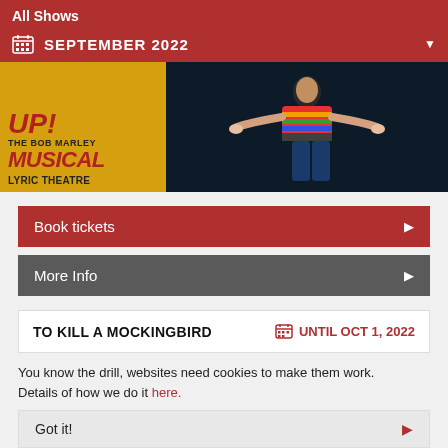All Shows
SEPTEMBER 2022
[Figure (photo): Promotional image for 'Get Up Stand Up! The Bob Marley Musical' at Lyric Theatre. Left portion shows yellow background with red stylized text 'UP! THE BOB MARLEY MUSICAL' and 'LYRIC THEATRE'. Right portion shows a performer in a colorful striped top with arms outstretched against a dark background.]
Book tickets
More Info
TO KILL A MOCKINGBIRD
UNTIL OCT 1, 2022
You know the drill, websites need cookies to make them work. Details of how we do it here.
Got it!